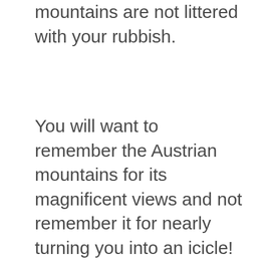mountains are not littered with your rubbish.
You will want to remember the Austrian mountains for its magnificent views and not remember it for nearly turning you into an icicle!